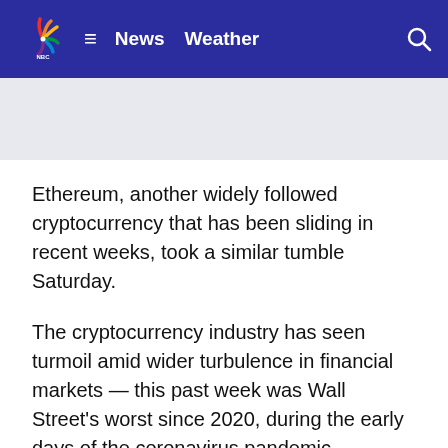NBC News | News  Weather
Ethereum, another widely followed cryptocurrency that has been sliding in recent weeks, took a similar tumble Saturday.
The cryptocurrency industry has seen turmoil amid wider turbulence in financial markets — this past week was Wall Street's worst since 2020, during the early days of the coronavirus pandemic.
Investors are selling off riskier assets because central banks are raising interest rates to combat quickening inflation. Higher rates can help bring down inflation, but they also heighten the chances of a recession by increasing borrowing costs for consumers and businesses